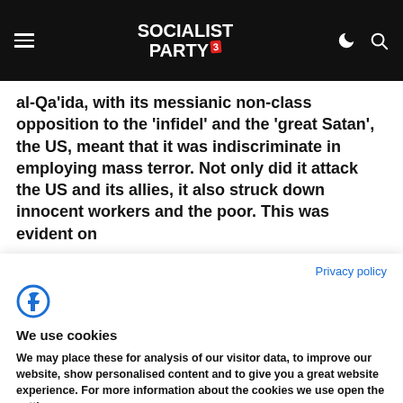Socialist Party
al-Qa'ida, with its messianic non-class opposition to the 'infidel' and the 'great Satan', the US, meant that it was indiscriminate in employing mass terror. Not only did it attack the US and its allies, it also struck down innocent workers and the poor. This was evident on
Privacy policy
We use cookies
We may place these for analysis of our visitor data, to improve our website, show personalised content and to give you a great website experience. For more information about the cookies we use open the settings.
Ok, continue
Deny
No, adjust